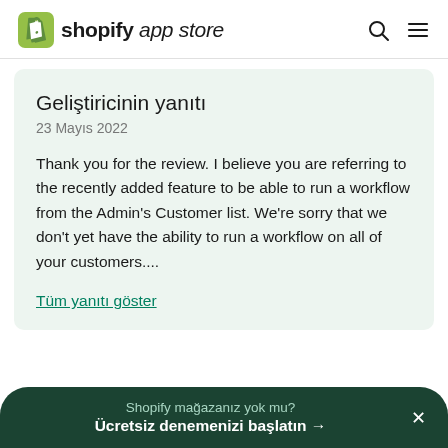shopify app store
Geliştiricinin yanıtı
23 Mayıs 2022
Thank you for the review. I believe you are referring to the recently added feature to be able to run a workflow from the Admin's Customer list. We're sorry that we don't yet have the ability to run a workflow on all of your customers....
Tüm yanıtı göster
Shopify mağazanız yok mu? Ücretsiz denemenizi başlatın →